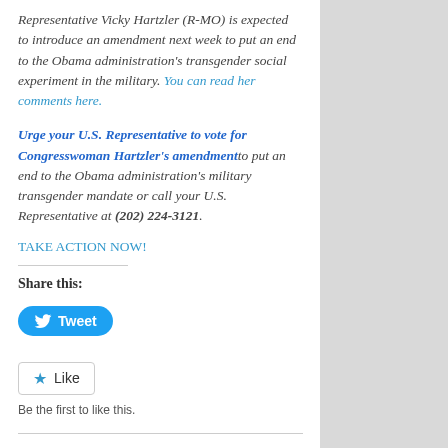Representative Vicky Hartzler (R-MO) is expected to introduce an amendment next week to put an end to the Obama administration's transgender social experiment in the military. You can read her comments here.
Urge your U.S. Representative to vote for Congresswoman Hartzler's amendment to put an end to the Obama administration's military transgender mandate or call your U.S. Representative at (202) 224-3121.
TAKE ACTION NOW!
Share this:
[Figure (screenshot): Tweet button - blue rounded rectangle with Twitter bird icon and 'Tweet' text]
[Figure (screenshot): Like button - white rectangle with star icon and 'Like' text, with 'Be the first to like this.' below]